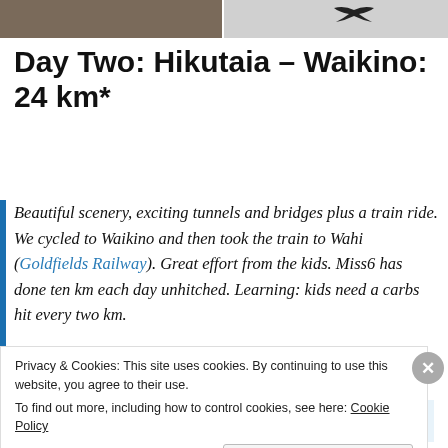[Figure (photo): Top strip showing two photos side by side — left appears to be a rocky/gravel surface, right shows a dark bird silhouette on light background]
Day Two: Hikutaia – Waikino: 24 km*
Beautiful scenery, exciting tunnels and bridges plus a train ride. We cycled to Waikino and then took the train to Wahi (Goldfields Railway). Great effort from the kids. Miss6 has done ten km each day unhitched. Learning: kids need a carbs hit every two km.
[Figure (screenshot): Tumblr Ad-Free banner advertisement]
Privacy & Cookies: This site uses cookies. By continuing to use this website, you agree to their use.
To find out more, including how to control cookies, see here: Cookie Policy
Close and accept